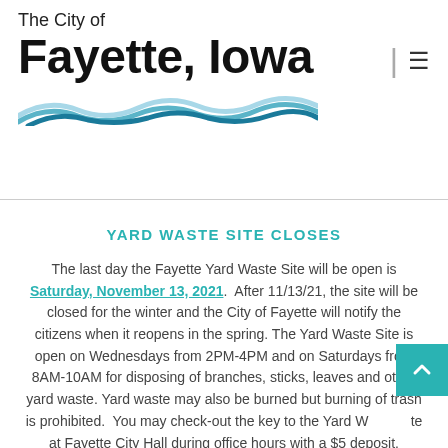The City of Fayette, Iowa
YARD WASTE SITE CLOSES
The last day the Fayette Yard Waste Site will be open is Saturday, November 13, 2021.  After 11/13/21, the site will be closed for the winter and the City of Fayette will notify the citizens when it reopens in the spring. The Yard Waste Site is open on Wednesdays from 2PM-4PM and on Saturdays from 8AM-10AM for disposing of branches, sticks, leaves and other yard waste. Yard waste may also be burned but burning of trash is prohibited.  You may check-out the key to the Yard Waste Site at Fayette City Hall during office hours with a $5 deposit. Residents will not be able to check out the key after Friday,